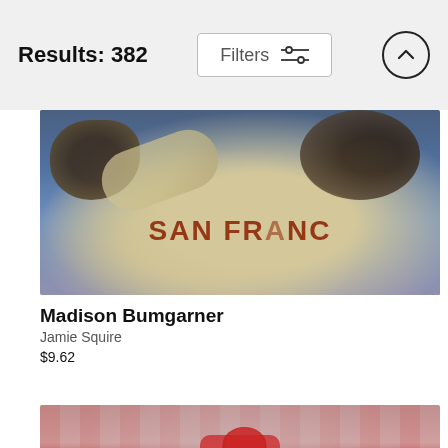Results: 382
Filters
[Figure (photo): Baseball pitcher Madison Bumgarner in San Francisco Giants uniform mid-pitch throwing motion, crowd blurred in background]
Madison Bumgarner
Jamie Squire
$9.62
[Figure (photo): Baseball batter in red uniform mid-swing, crowd in red in background]